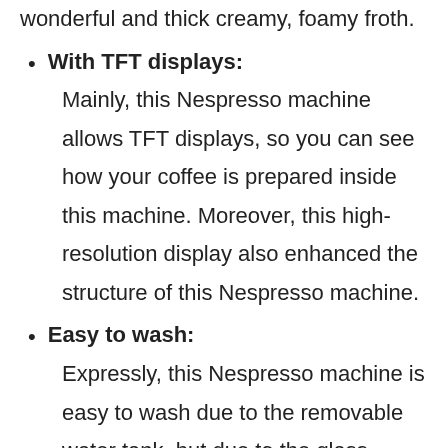wonderful and thick creamy, foamy froth.
With TFT displays: Mainly, this Nespresso machine allows TFT displays, so you can see how your coffee is prepared inside this machine. Moreover, this high-resolution display also enhanced the structure of this Nespresso machine.
Easy to wash: Expressly, this Nespresso machine is easy to wash due to the removable water tank, but due to the glass frame, it is not safe for the dishwasher. Hence, also its stream wand, pressure bars, and milk jug are